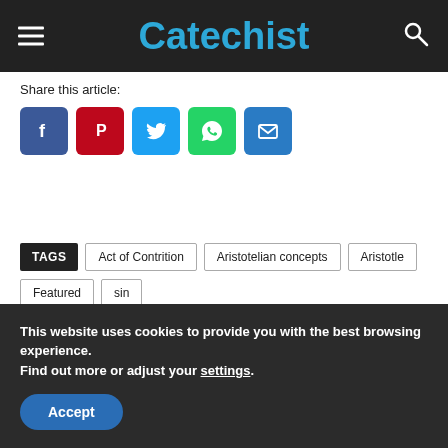Catecchist
Share this article:
[Figure (infographic): Social media share buttons: Facebook, Pinterest, Twitter, WhatsApp, Email]
TAGS  Act of Contrition  Aristotelian concepts  Aristotle  Featured  sin
This website uses cookies to provide you with the best browsing experience.
Find out more or adjust your settings.